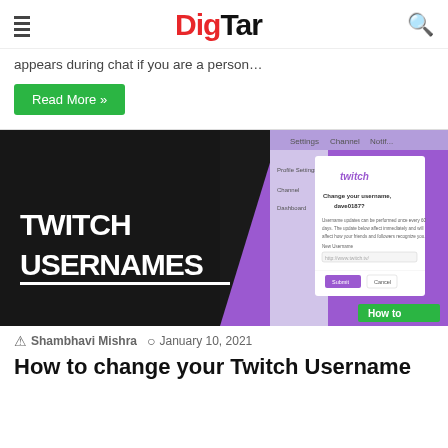DigTar
appears during chat if you are a person…
Read More »
[Figure (screenshot): Twitch Usernames article thumbnail with black left panel showing 'TWITCH USERNAMES' text and purple right panel showing a Twitch Settings UI dialog for changing username (dave0187?). A green 'How to' badge in bottom right corner.]
Shambhavi Mishra   January 10, 2021
How to change your Twitch Username